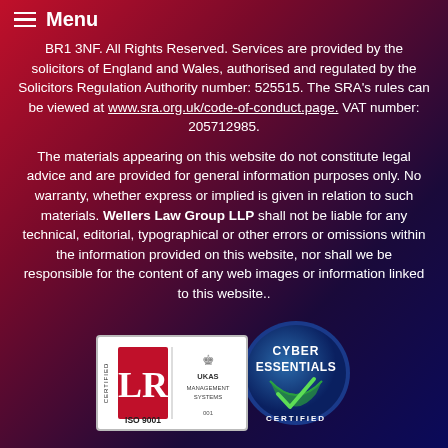Menu
BR1 3NF. All Rights Reserved. Services are provided by the solicitors of England and Wales, authorised and regulated by the Solicitors Regulation Authority number: 525515. The SRA's rules can be viewed at www.sra.org.uk/code-of-conduct.page. VAT number: 205712985.
The materials appearing on this website do not constitute legal advice and are provided for general information purposes only. No warranty, whether express or implied is given in relation to such materials. Wellers Law Group LLP shall not be liable for any technical, editorial, typographical or other errors or omissions within the information provided on this website, nor shall we be responsible for the content of any web images or information linked to this website..
[Figure (logo): ISO 9001 UKAS Management Systems certified badge]
[Figure (logo): Cyber Essentials Certified badge]